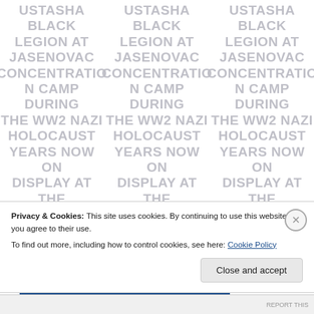USTASHA BLACK LEGION AT JASENOVAC CONCENTRATION CAMP DURING THE WW2 NAZI HOLOCAUST YEARS NOW ON DISPLAY AT THE CRIME THROUGH TIME COLLECTION, (repeated 3 columns)
Privacy & Cookies: This site uses cookies. By continuing to use this website, you agree to their use.
To find out more, including how to control cookies, see here: Cookie Policy
Close and accept